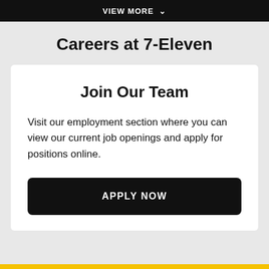VIEW MORE ∨
Careers at 7-Eleven
Join Our Team
Visit our employment section where you can view our current job openings and apply for positions online.
APPLY NOW